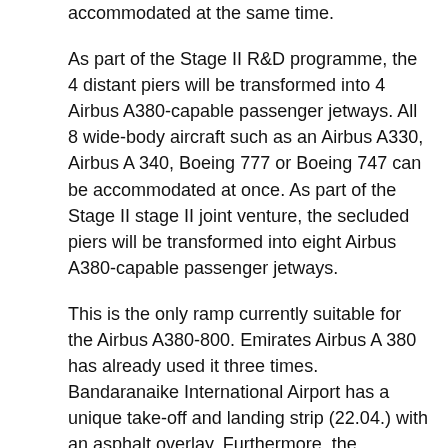accommodated at the same time.
As part of the Stage II R&D programme, the 4 distant piers will be transformed into 4 Airbus A380-capable passenger jetways. All 8 wide-body aircraft such as an Airbus A330, Airbus A 340, Boeing 777 or Boeing 747 can be accommodated at once. As part of the Stage II stage II joint venture, the secluded piers will be transformed into eight Airbus A380-capable passenger jetways.
This is the only ramp currently suitable for the Airbus A380-800. Emirates Airbus A 380 has already used it three times. Bandaranaike International Airport has a unique take-off and landing strip (22.04.) with an asphalt overlay. Furthermore, the authorities have agreed to make an investment in a second airport take-off and landing strip so that the Airbus 380 can arrive at Colombo.
It is also planned to construct another tarmac for the handling of the Airbus A 380 in the near term. Phase II of the BIA extension will also include a second take-off and landing strip capable of accommodating the Airbus 380 and another tarmac to the second one. The planned new facility will include a new